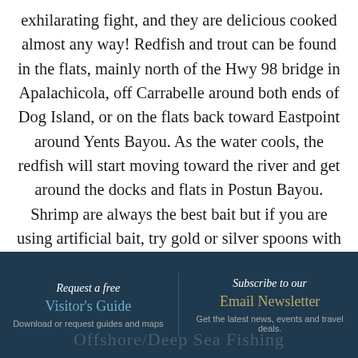exhilarating fight, and they are delicious cooked almost any way! Redfish and trout can be found in the flats, mainly north of the Hwy 98 bridge in Apalachicola, off Carrabelle around both ends of Dog Island, or on the flats back toward Eastpoint around Yents Bayou. As the water cools, the redfish will start moving toward the river and get around the docks and flats in Postun Bayou. Shrimp are always the best bait but if you are using artificial bait, try gold or silver spoons with traditional grub in the colors of gulf red, white, or new penny. Redfish also like suspension mar lure in the colors of
Request a free Visitor's Guide Download or request guides and maps | Subscribe to our Email Newsletter Get the latest news, events and travel deals.